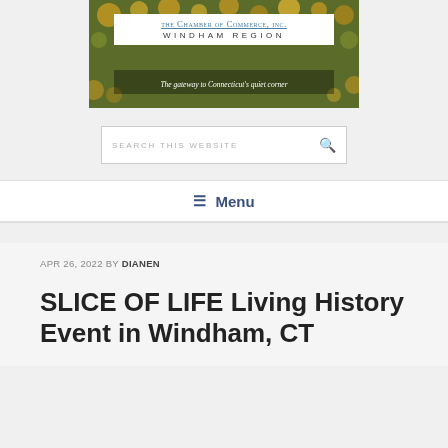[Figure (logo): The Chamber of Commerce, Inc. Windham Region logo with floral background and tagline 'The gateway to Connecticut's quiet corner']
SEARCH THIS WEBSITE
☰ Menu
APR 26, 2022 BY DIANEN
SLICE OF LIFE Living History Event in Windham, CT